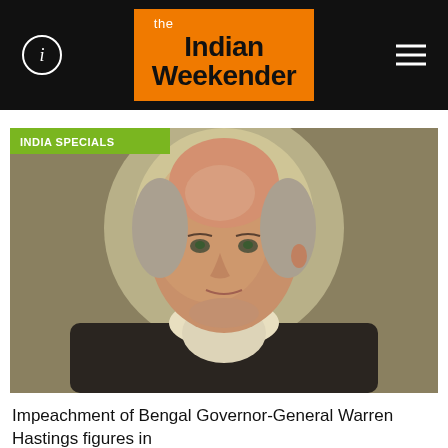the Indian Weekender
[Figure (photo): Portrait painting of Warren Hastings, Bengal Governor-General, with label 'INDIA SPECIALS' in top-left corner]
Impeachment of Bengal Governor-General Warren Hastings figures in Trump trial